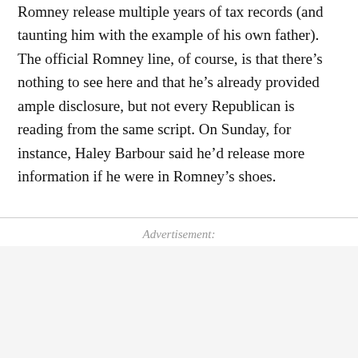Romney release multiple years of tax records (and taunting him with the example of his own father). The official Romney line, of course, is that there's nothing to see here and that he's already provided ample disclosure, but not every Republican is reading from the same script. On Sunday, for instance, Haley Barbour said he'd release more information if he were in Romney's shoes.
Advertisement: